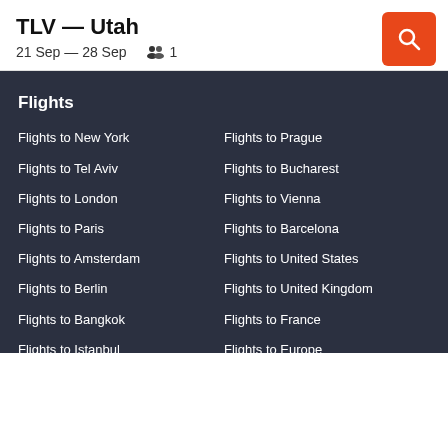TLV — Utah
21 Sep — 28 Sep    1
Flights
Flights to New York
Flights to Prague
Flights to Tel Aviv
Flights to Bucharest
Flights to London
Flights to Vienna
Flights to Paris
Flights to Barcelona
Flights to Amsterdam
Flights to United States
Flights to Berlin
Flights to United Kingdom
Flights to Bangkok
Flights to France
Flights to Istanbul
Flights to Europe
Flights to Rome
Flights to Thailand
Flights to Budapest
Flights to Asia
Flights to Athens
Flights to Eilat